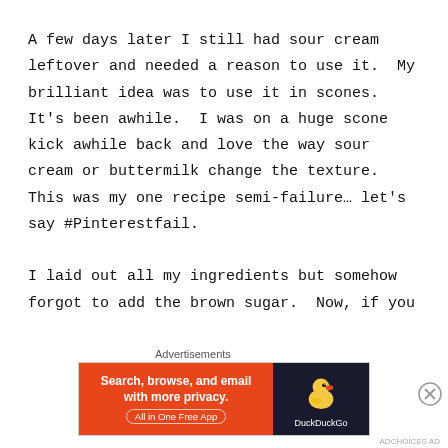A few days later I still had sour cream leftover and needed a reason to use it.  My brilliant idea was to use it in scones.  It's been awhile.  I was on a huge scone kick awhile back and love the way sour cream or buttermilk change the texture.  This was my one recipe semi-failure… let's say #Pinterestfail.

I laid out all my ingredients but somehow forgot to add the brown sugar.  Now, if you
Advertisements
[Figure (other): DuckDuckGo advertisement banner: orange left panel with text 'Search, browse, and email with more privacy. All in One Free App', dark right panel with DuckDuckGo duck logo and brand name.]